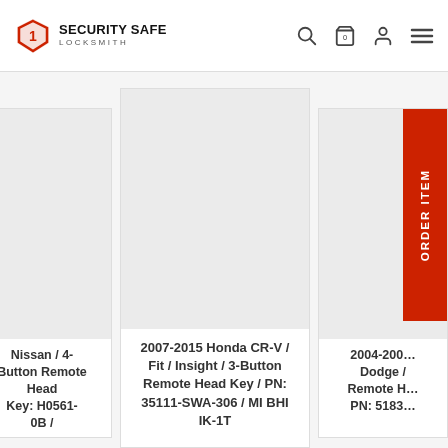SECURITY SAFE LOCKSMITH
[Figure (screenshot): Product listing page for Security Safe Locksmith showing three automotive remote head key products in a card grid layout. Left card (partially visible): Nissan / 4-Button Remote Head Key: H0561-…0B / … Right card (partially visible): 2004-200… Dodge / Remote H… PN: 5183… Center card: 2007-2015 Honda CR-V / Fit / Insight / 3-Button Remote Head Key / PN: 35111-SWA-306 / MI BHI IK-1T. An ORDER ITEM red ribbon badge appears on the right side.]
Nissan / 4-Button Remote Head Key: H0561-0B /
2007-2015 Honda CR-V / Fit / Insight / 3-Button Remote Head Key / PN: 35111-SWA-306 / MI BHI IK-1T
2004-200… Dodge / Remote H… PN: 5183…